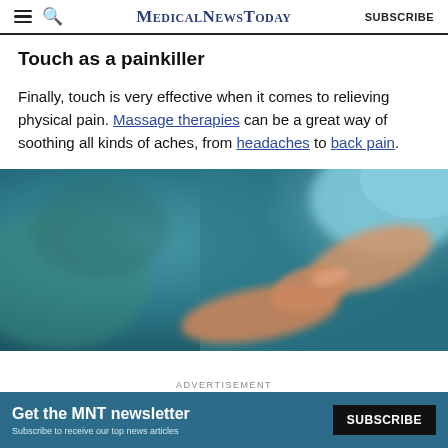MedicalNewsToday   SUBSCRIBE
Touch as a painkiller
Finally, touch is very effective when it comes to relieving physical pain. Massage therapies can be a great way of soothing all kinds of aches, from headaches to back pain.
[Figure (photo): Close-up photo of two people holding hands, blurred teal/green background, one person wearing a light blue sleeve. Warm skin tones suggesting comfort or care.]
ADVERTISEMENT
Get the MNT newsletter — Subscribe to receive our top news articles. SUBSCRIBE